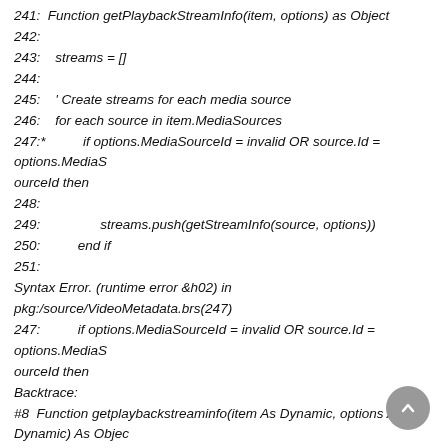241:  Function getPlaybackStreamInfo(item, options) as Object
242:
243:    streams = []
244:
245:    ' Create streams for each media source
246:    for each source in item.MediaSources
247:*          if options.MediaSourceId = invalid OR source.Id = options.MediaS
ourceId then
248:
249:                streams.push(getStreamInfo(source, options))
250:          end if
251:
Syntax Error. (runtime error &h02) in pkg:/source/VideoMetadata.brs(247)
247:          if options.MediaSourceId = invalid OR source.Id = options.MediaS
ourceId then
Backtrace:
#8  Function getplaybackstreaminfo(item As Dynamic, options As Dynamic) As Objec
t